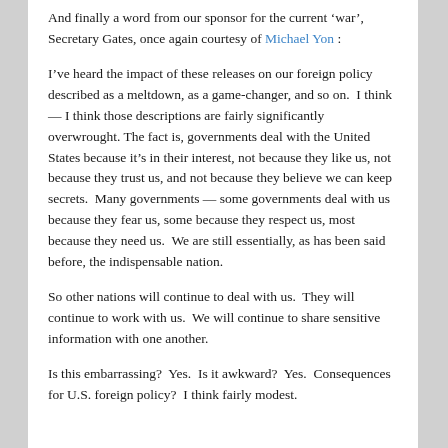And finally a word from our sponsor for the current 'war', Secretary Gates, once again courtesy of Michael Yon :
I've heard the impact of these releases on our foreign policy described as a meltdown, as a game-changer, and so on.  I think — I think those descriptions are fairly significantly overwrought. The fact is, governments deal with the United States because it's in their interest, not because they like us, not because they trust us, and not because they believe we can keep secrets.  Many governments — some governments deal with us because they fear us, some because they respect us, most because they need us.  We are still essentially, as has been said before, the indispensable nation.
So other nations will continue to deal with us.  They will continue to work with us.  We will continue to share sensitive information with one another.
Is this embarrassing?  Yes.  Is it awkward?  Yes.  Consequences for U.S. foreign policy?  I think fairly modest.